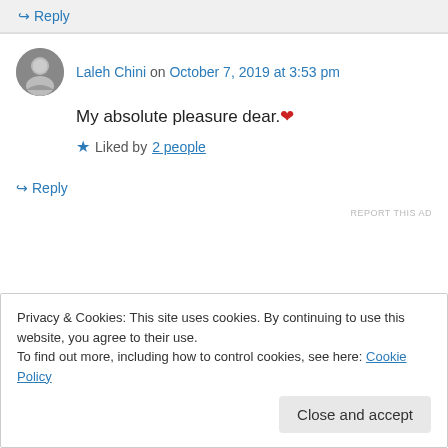↪ Reply
Laleh Chini on October 7, 2019 at 3:53 pm
My absolute pleasure dear. ❤
★ Liked by 2 people
↪ Reply
REPORT THIS AD
Privacy & Cookies: This site uses cookies. By continuing to use this website, you agree to their use. To find out more, including how to control cookies, see here: Cookie Policy
Close and accept
copy of yours! 🙂